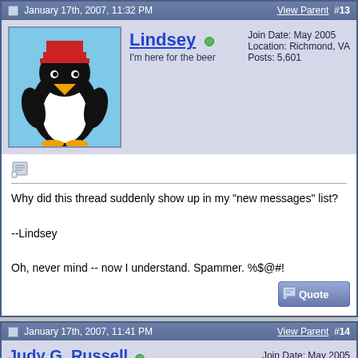January 17th, 2007, 11:32 PM    View Parent  #13
Lindsey
I'm here for the beer
Join Date: May 2005
Location: Richmond, VA
Posts: 5,601
[Figure (illustration): Cartoon penguin avatar with red hat and yellow beak]
Why did this thread suddenly show up in my "new messages" list?

--Lindsey

Oh, never mind -- now I understand. Spammer. %$@#!
January 17th, 2007, 11:41 PM    View Parent  #14
Judy G. Russell
Chief Cook & BottleWasher
Join Date: May 2005
Location: NJ
Posts: 13,076
Quote:
Originally Posted by Lindsey
Why did this thread suddenly show up in my "new